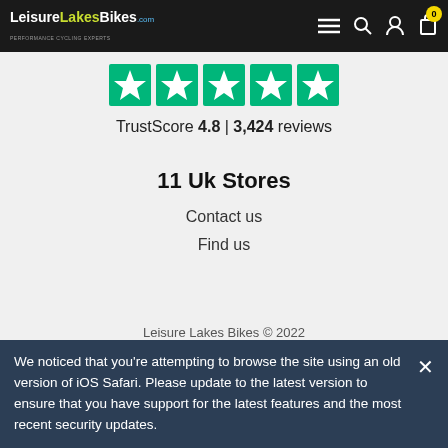[Figure (logo): LeisureLakesBikes.com logo in white and yellow/green text on dark background]
[Figure (infographic): Five Trustpilot green star rating boxes in a row]
TrustScore 4.8 | 3,424 reviews
11 Uk Stores
Contact us
Find us
Leisure Lakes Bikes © 2022
We noticed that you're attempting to browse the site using an old version of iOS Safari. Please update to the latest version to ensure that you have support for the latest features and the most recent security updates.